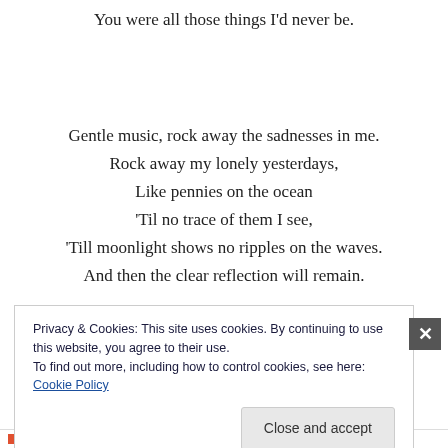You were all those things I'd never be.
Gentle music, rock away the sadnesses in me.
Rock away my lonely yesterdays,
Like pennies on the ocean
'Til no trace of them I see,
'Till moonlight shows no ripples on the waves.
And then the clear reflection will remain.
Privacy & Cookies: This site uses cookies. By continuing to use this website, you agree to their use.
To find out more, including how to control cookies, see here: Cookie Policy